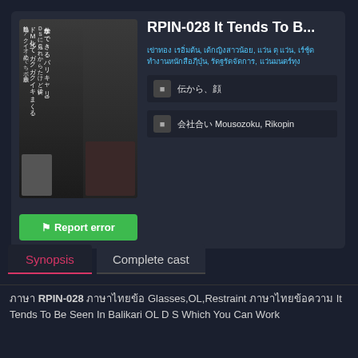[Figure (photo): DVD cover image showing a woman in black top and white pants with Japanese text]
RPIN-028 It Tends To B...
Tags in Thai/Asian script, Mousozoku, Rikopin
■ 日本語テキスト
■ 日本語テキスト Mousozoku, Rikopin
⚑ Report error
Synopsis
Complete cast
ภาษา RPIN-028 ภาษาไทยข้อ Glasses,OL,Restraint ภาษาไทยข้อความ It Tends To Be Seen In Balikari OL D S Which You Can Work